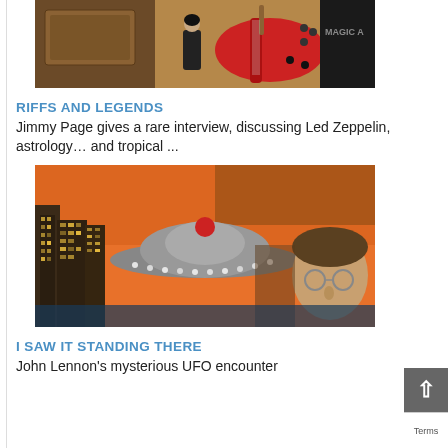[Figure (photo): Photo showing a red electric guitar, a small figurine of a person in black, and other items on a display table with 'MAGIC A' text visible in background]
RIFFS AND LEGENDS
Jimmy Page gives a rare interview, discussing Led Zeppelin, astrology… and tropical ...
[Figure (photo): Composite image showing a UFO flying saucer over a city skyline at sunset, with a person wearing glasses visible on the right side]
I SAW IT STANDING THERE
John Lennon's mysterious UFO encounter